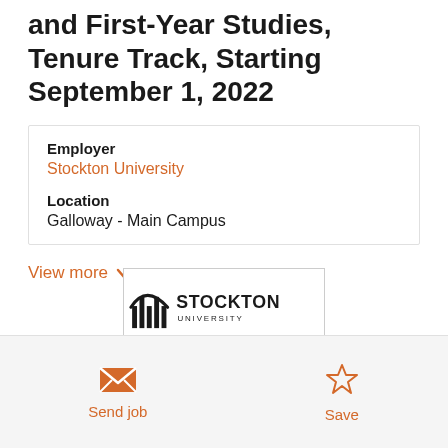Assistant Professor of Mathematics and First-Year Studies, Tenure Track, Starting September 1, 2022
Employer
Stockton University
Location
Galloway - Main Campus
View more
[Figure (logo): Stockton University logo with pillars icon and text 'STOCKTON UNIVERSITY']
Send job
Save